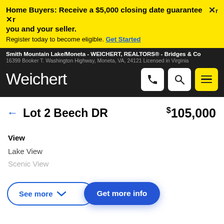Home Buyers: Receive a $5,000 closing date guarantee Xr you and your seller. Register today to become eligible. Get Started
Smith Mountain Lake/Moneta - WEICHERT, REALTORS® - Bridges & Co
16399 Booker T. Washington Highway, Moneta, VA, 24121 Licensed in Virginia
[Figure (logo): Weichert logo in white text on dark background with phone, search, and menu icon buttons]
← Lot 2 Beech DR   $105,000
View
Lake View
Scenic View
See more ∨   Get more info